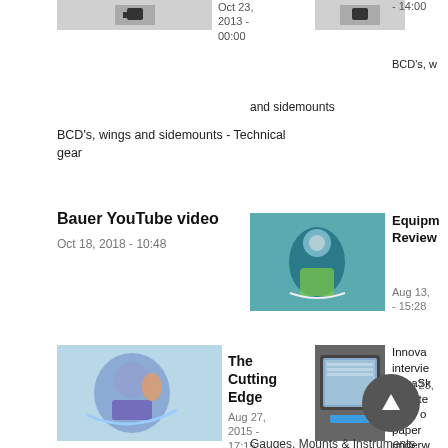[Figure (photo): Equipment image top left - black gear]
Oct 23, 2013 - 00:00
[Figure (photo): Equipment image top right - black gear]
- 14:00
BCD's, w
and sidemounts
BCD's, wings and sidemounts - Technical gear
Bauer YouTube video
Oct 18, 2018 - 10:48
[Figure (photo): Diver underwater with equipment]
Equipment Review
Aug 13, - 15:28
[Figure (photo): Diver cutting scene]
The Cutting Edge
Aug 27, 2015 - 17:15
[Figure (photo): Underwater writing tablet device]
Innova interview aquaSki – Write draw on paper underw
Nov 23, 8:18
Gauges, Mounts & Instruments